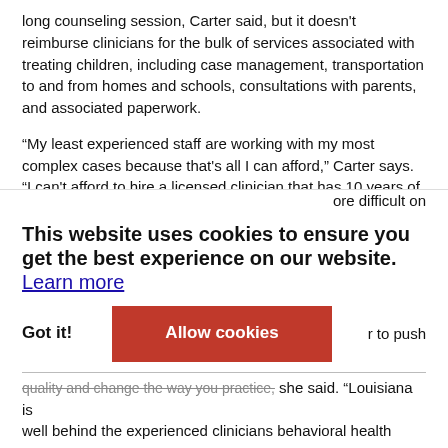long counseling session, Carter said, but it doesn't reimburse clinicians for the bulk of services associated with treating children, including case management, transportation to and from homes and schools, consultations with parents, and associated paperwork.
“My least experienced staff are working with my most complex cases because that's all I can afford,” Carter says. “I can't afford to hire a licensed clinician that has 10 years of experience. I can only hire ones right out of school or (who) have only had a year or two of experience.”
Hiring is also hard when most experienced clinicians can make more in private practice. Carter recently advertised a post with a person ore difficult on r to push quality and change the way you practice, she said. “Louisiana is well behind the experienced clinicians behavioral health
This website uses cookies to ensure you get the best experience on our website. Learn more
Got it!  Allow cookies